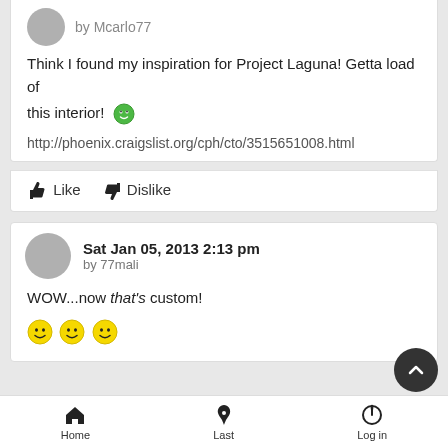by Mcarlo77
Think I found my inspiration for Project Laguna! Getta load of this interior! 😀
http://phoenix.craigslist.org/cph/cto/3515651008.html
Like   Dislike
Sat Jan 05, 2013 2:13 pm
by 77mali
WOW...now that's custom!
😀😀😀
Home   Last   Log in